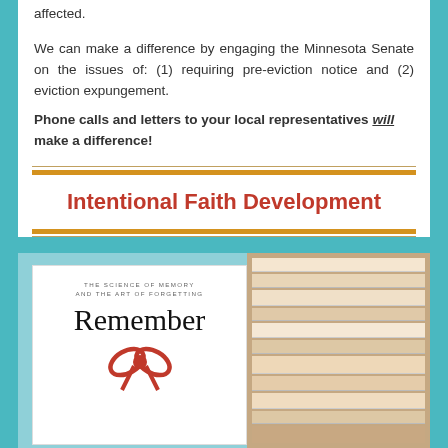affected.
We can make a difference by engaging the Minnesota Senate on the issues of: (1) requiring pre-eviction notice and (2) eviction expungement.
Phone calls and letters to your local representatives will make a difference!
Intentional Faith Development
[Figure (photo): Book cover 'Remember: The Science of Memory and the Art of Forgetting' with a red ribbon bow, next to a stack of books, on a light blue background.]